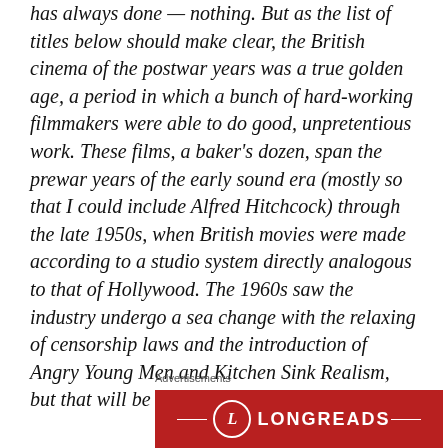has always done — nothing. But as the list of titles below should make clear, the British cinema of the postwar years was a true golden age, a period in which a bunch of hard-working filmmakers were able to do good, unpretentious work. These films, a baker's dozen, span the prewar years of the early sound era (mostly so that I could include Alfred Hitchcock) through the late 1950s, when British movies were made according to a studio system directly analogous to that of Hollywood. The 1960s saw the industry undergo a sea change with the relaxing of censorship laws and the introduction of Angry Young Men and Kitchen Sink Realism, but that will be the subject of another post . . .
Advertisements
[Figure (logo): LONGREADS logo on a red background with a circular L emblem flanked by horizontal lines]